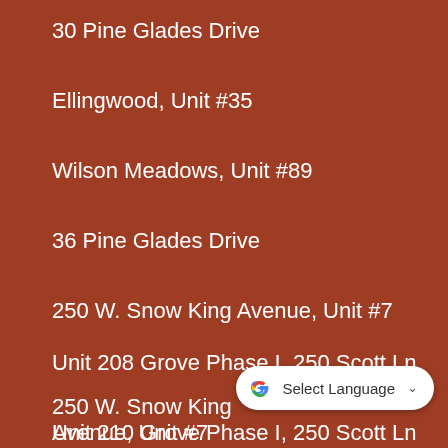30 Pine Glades Drive
Ellingwood, Unit #35
Wilson Meadows, Unit #89
36 Pine Glades Drive
250 W. Snow King Avenue, Unit #7
Unit 208 Grove Phase I, 250 Scott Ln
250 W. Snow King Avenue, Unit #7
3984 Hawthorne Lane
Unit 210 Grove Phase I, 250 Scott Ln